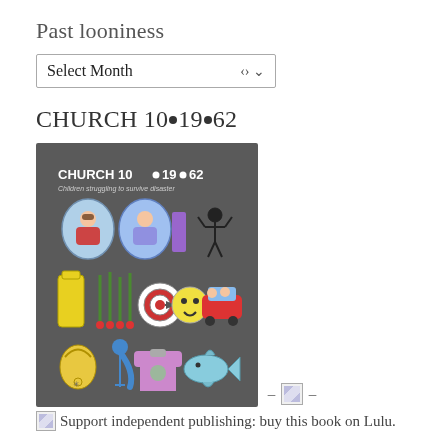Past looniness
[Figure (other): A dropdown/select widget labeled 'Select Month' with a chevron arrow on the right]
CHURCH 10•19•62
[Figure (illustration): Book cover with dark gray background showing 'CHURCH 10•19•62' title, subtitle 'Children struggling to survive disaster', various cartoon character icons, and bottom text 'Consider the possibilities?']
– [image] –
[image]Support independent publishing: buy this book on Lulu.
A proud member